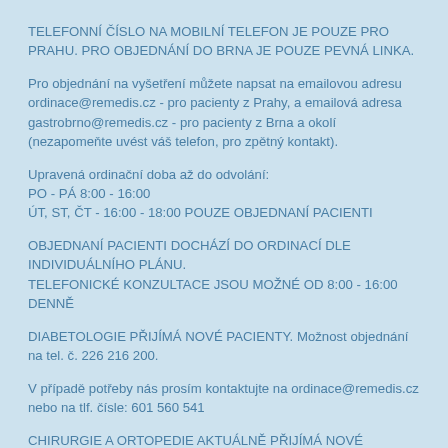TELEFONNÍ ČÍSLO NA MOBILNÍ TELEFON JE POUZE PRO PRAHU. PRO OBJEDNÁNÍ DO BRNA JE POUZE PEVNÁ LINKA.
Pro objednání na vyšetření můžete napsat na emailovou adresu ordinace@remedis.cz - pro pacienty z Prahy, a emailová adresa gastrobrno@remedis.cz - pro pacienty z Brna a okolí (nezapomeňte uvést váš telefon, pro zpětný kontakt).
Upravená ordinační doba až do odvolání:
PO - PÁ 8:00 - 16:00
ÚT, ST, ČT - 16:00 - 18:00 POUZE OBJEDNANÍ PACIENTI
OBJEDNANÍ PACIENTI DOCHÁZÍ DO ORDINACÍ DLE INDIVIDUÁLNÍHO PLÁNU.
TELEFONICKÉ KONZULTACE JSOU MOŽNÉ OD 8:00 - 16:00 DENNĚ
DIABETOLOGIE PŘIJÍMÁ NOVÉ PACIENTY. Možnost objednání na tel. č. 226 216 200.
V případě potřeby nás prosím kontaktujte na ordinace@remedis.cz nebo na tlf. čísle: 601 560 541
CHIRURGIE A ORTOPEDIE AKTUÁLNĚ PŘIJÍMÁ NOVÉ PACIENTY